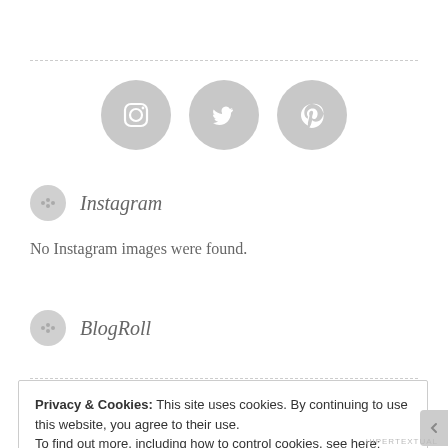[Figure (illustration): Three social media icon circles in gray: Instagram camera icon, Twitter bird icon, Pinterest P icon]
Instagram
No Instagram images were found.
BlogRoll
Privacy & Cookies: This site uses cookies. By continuing to use this website, you agree to their use.
To find out more, including how to control cookies, see here: Cookie Policy
Close and accept